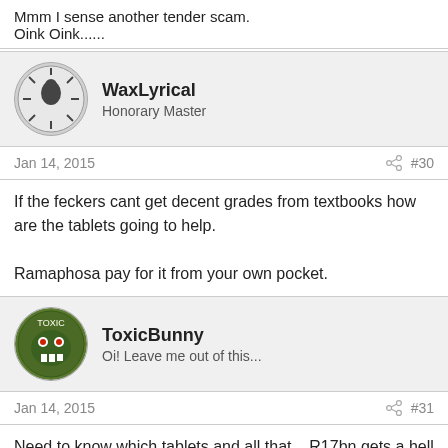Mmm I sense another tender scam.
Oink Oink......
WaxLyrical
Honorary Master
Jan 14, 2015  #30
If the feckers cant get decent grades from textbooks how are the tablets going to help.

Ramaphosa pay for it from your own pocket.
ToxicBunny
Oi! Leave me out of this...
Jan 14, 2015  #31
Need to know which tablets and all that... R17bn gets a hell of a lot of tablets.